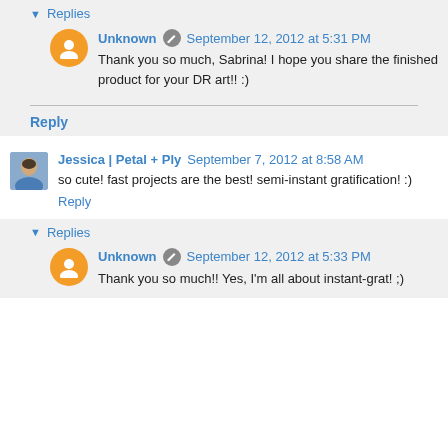▾ Replies
Unknown  September 12, 2012 at 5:31 PM
Thank you so much, Sabrina! I hope you share the finished product for your DR art!! :)
Reply
Jessica | Petal + Ply  September 7, 2012 at 8:58 AM
so cute! fast projects are the best! semi-instant gratification! :)
Reply
▾ Replies
Unknown  September 12, 2012 at 5:33 PM
Thank you so much!! Yes, I'm all about instant-grat! ;)